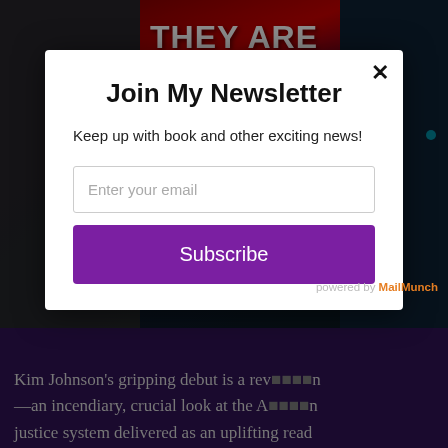[Figure (screenshot): Website background showing a dark themed page with a book cover featuring text 'THEY ARE WRONG.' in bold white letters on a dark red/purple background, with teal accent elements on the right side.]
Join My Newsletter
Keep up with book and other exciting news!
Enter your email
Subscribe
powered by MailMunch
Kim Johnson's gripping debut is a rev—an incendiary, crucial look at the Ajustice system delivered as an uplifting read